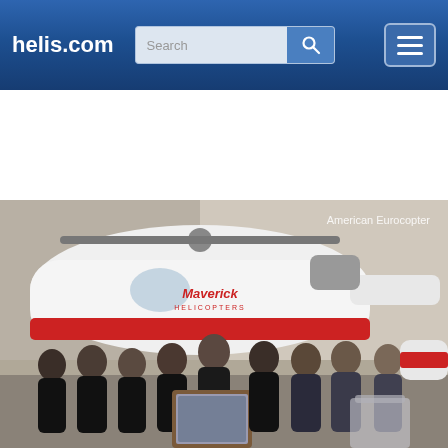helis.com
[Figure (screenshot): Website navigation bar for helis.com with search box and hamburger menu button on a blue gradient background]
[Figure (photo): Group photo of approximately nine people standing in front of a Maverick Helicopters aircraft inside a hangar. Several people wear black polo shirts. Two people in the center hold a framed plaque/artwork. There is a podium on the right side. The watermark reads 'American Eurocopter'.]